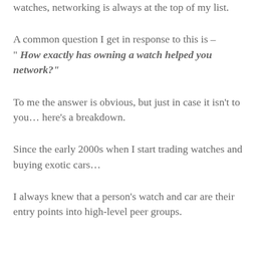watches, networking is always at the top of my list.
A common question I get in response to this is – "How exactly has owning a watch helped you network?"
To me the answer is obvious, but just in case it isn't to you… here's a breakdown.
Since the early 2000s when I start trading watches and buying exotic cars…
I always knew that a person's watch and car are their entry points into high-level peer groups.